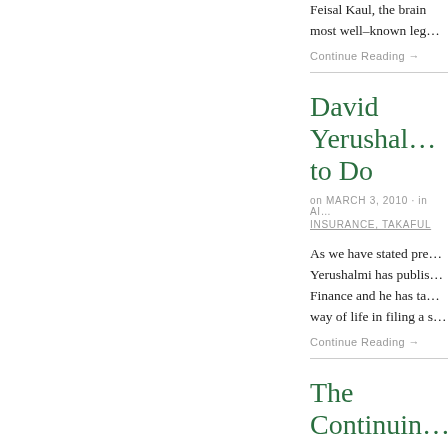Feisal Kaul, the brain… most well-known leg…
Continue Reading →
David Yerushal… to Do
on MARCH 3, 2010 · in AI… INSURANCE, TAKAFUL
As we have stated pre… Yerushalmi has publis… Finance and he has ta… way of life in filing a s…
Continue Reading →
The Continuin… Launderin…